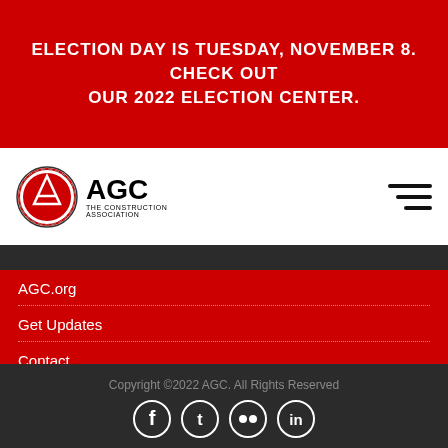ELECTION DAY IS TUESDAY, NOVEMBER 8. CHECK OUT OUR 2022 ELECTION CENTER.
[Figure (logo): AGC The Construction Association logo with circular emblem on left and bold AGC text on right]
AGC.org
Get Updates
Contact
Privacy Policy
TOS
Copyright ©2022 AGC. All Rights Reserved